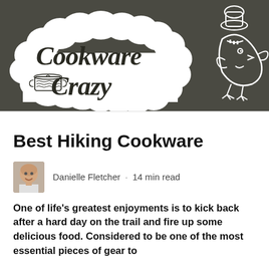[Figure (logo): Cookware Crazy logo on dark olive/charcoal background with cloud-shaped white bubble containing 'Cookware Crazy' in handwritten cursive, a cookware pot illustration, and a cartoon chef bird character on the right]
Best Hiking Cookware
Danielle Fletcher · 14 min read
One of life's greatest enjoyments is to kick back after a hard day on the trail and fire up some delicious food. Considered to be one of the most essential pieces of gear to